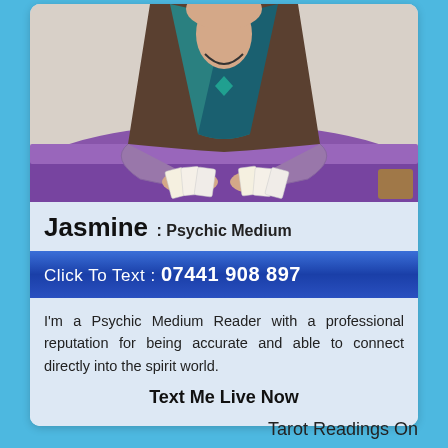[Figure (photo): Woman with teal top and necklace holding tarot cards on purple cloth]
Jasmine : Psychic Medium
Click To Text : 07441 908 897
I'm a Psychic Medium Reader with a professional reputation for being accurate and able to connect directly into the spirit world.
Text Me Live Now
Tarot Readings On